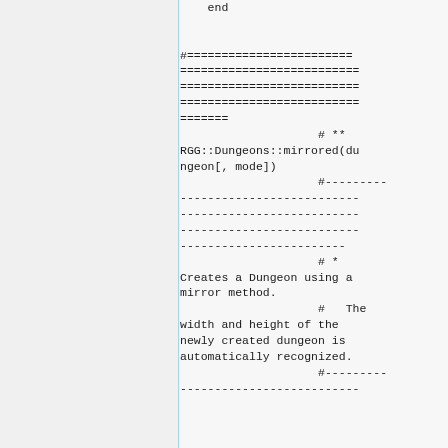end

#============================================================
======
                    # **
RGG::Dungeons::mirrored(dungeon[, mode])
                    #---------------------------------------------------------

                    # *
Creates a Dungeon using a mirror method.
                    #   The width and height of the newly created dungeon is automatically recognized.
                    #---------------------------------------------------------